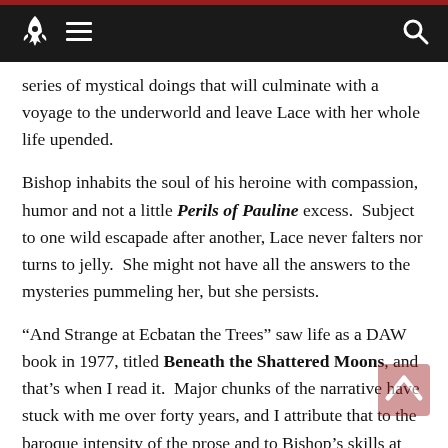Navigation header with rocket logo, hamburger menu, and search icon
series of mystical doings that will culminate with a voyage to the underworld and leave Lace with her whole life upended.
Bishop inhabits the soul of his heroine with compassion, humor and not a little Perils of Pauline excess. Subject to one wild escapade after another, Lace never falters nor turns to jelly. She might not have all the answers to the mysteries pummeling her, but she persists.
“And Strange at Ecbatan the Trees” saw life as a DAW book in 1977, titled Beneath the Shattered Moons, and that’s when I read it. Major chunks of the narrative have stuck with me over forty years, and I attribute that to the baroque intensity of the prose and to Bishop’s skills at delivering cinematic set pieces. As he explains in his “Afterword,” early Le Guin novels inspired him to write